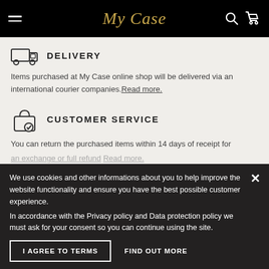My Case
DELIVERY
Items purchased at My Case online shop will be delivered via an international courier companies. Read more.
CUSTOMER SERVICE
You can return the purchased items within 14 days of receipt for an exchange or full refund Read more.
We use cookies and other informations about you to help improve the website functionality and ensure you have the best possible customer experience.
In accordance with the Privacy policy and Data protection policy we must ask for your consent so you can continue using the site.
I AGREE TO TERMS
FIND OUT MORE